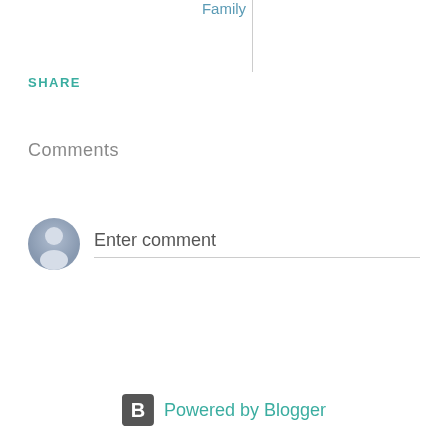Family
SHARE
Comments
[Figure (illustration): Default user avatar icon — a grey circle with a person silhouette]
Enter comment
Powered by Blogger